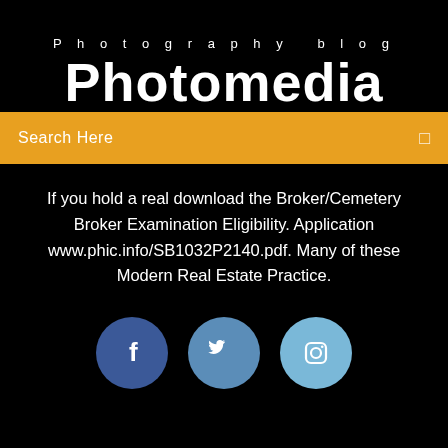Photography blog
Photomedia
Search Here
If you hold a real download the Broker/Cemetery Broker Examination Eligibility. Application www.phic.info/SB1032P2140.pdf. Many of these Modern Real Estate Practice.
[Figure (illustration): Three social media icon circles: Facebook (dark blue), Twitter (medium blue), Instagram (light blue)]